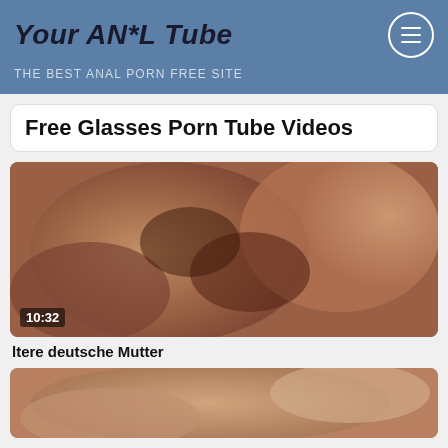Your AN*L Tube
THE BEST ANAL PORN FREE SITE
Free Glasses Porn Tube Videos
[Figure (photo): Video thumbnail showing close-up adult content with duration overlay 10:32]
ltere deutsche Mutter
[Figure (photo): Second video thumbnail showing adult content, partially visible]